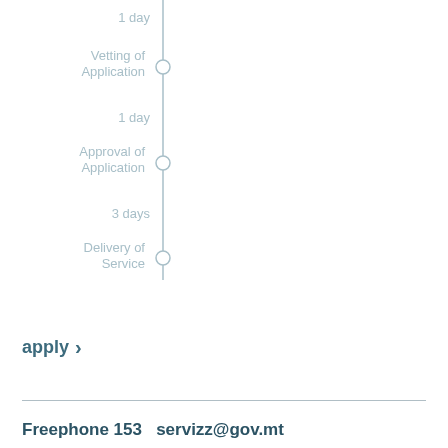[Figure (flowchart): Vertical timeline/flowchart showing process steps: 1 day, Vetting of Application (circle node), 1 day, Approval of Application (circle node), 3 days, Delivery of Service (circle node). Vertical line connects nodes on the right side of labels.]
apply >
Freephone 153  servizz@gov.mt